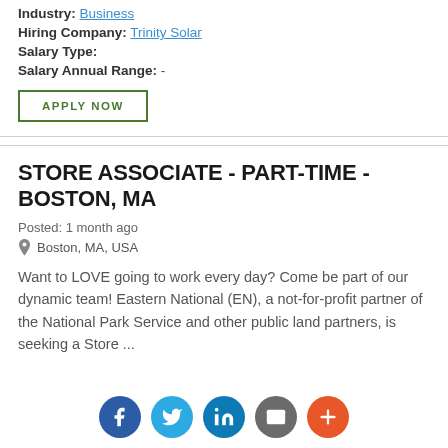Industry: Business
Hiring Company: Trinity Solar
Salary Type:
Salary Annual Range: -
APPLY NOW
STORE ASSOCIATE - PART-TIME - BOSTON, MA
Posted: 1 month ago
Boston, MA, USA
Want to LOVE going to work every day? Come be part of our dynamic team! Eastern National (EN), a not-for-profit partner of the National Park Service and other public land partners, is seeking a Store ...